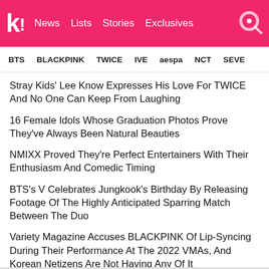koreaboo — News | Lists | Stories | Exclusives
BTS BLACKPINK TWICE IVE aespa NCT SEVE
Stray Kids' Lee Know Expresses His Love For TWICE And No One Can Keep From Laughing
16 Female Idols Whose Graduation Photos Prove They've Always Been Natural Beauties
NMIXX Proved They're Perfect Entertainers With Their Enthusiasm And Comedic Timing
BTS's V Celebrates Jungkook's Birthday By Releasing Footage Of The Highly Anticipated Sparring Match Between The Duo
Variety Magazine Accuses BLACKPINK Of Lip-Syncing During Their Performance At The 2022 VMAs, And Korean Netizens Are Not Having Any Of It